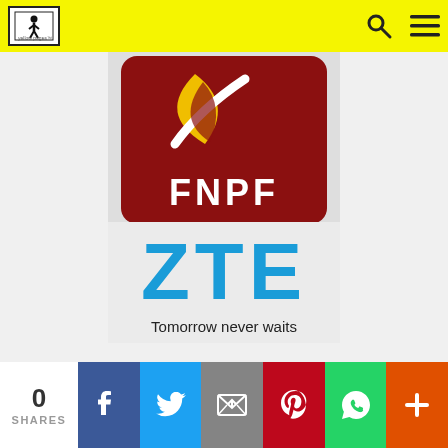[Figure (logo): Fiji Yellow Pages navigation bar with yellow background, logo icon on left, search and menu icons on right]
[Figure (logo): FNPF logo — dark red rounded square with stylized leaf/flame graphic, white FNPF text, tagline 'securing your future' below]
[Figure (logo): ZTE logo — blue rounded bold letters ZTE, tagline 'Tomorrow never waits' below]
[Figure (logo): Partial dark banner at bottom of content area]
0
SHARES
[Figure (infographic): Social sharing bar with Facebook, Twitter, Email, Pinterest, WhatsApp, and Plus buttons]